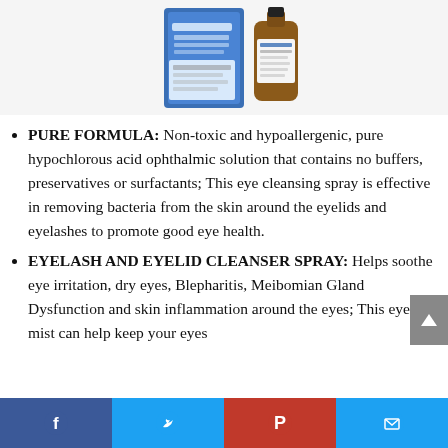[Figure (photo): Product photo showing a blue box and amber glass bottle of Hyclenz Eyelid Solution on a light gray background.]
PURE FORMULA: Non-toxic and hypoallergenic, pure hypochlorous acid ophthalmic solution that contains no buffers, preservatives or surfactants; This eye cleansing spray is effective in removing bacteria from the skin around the eyelids and eyelashes to promote good eye health.
EYELASH AND EYELID CLEANSER SPRAY: Helps soothe eye irritation, dry eyes, Blepharitis, Meibomian Gland Dysfunction and skin inflammation around the eyes; This eye mist can help keep your eyes